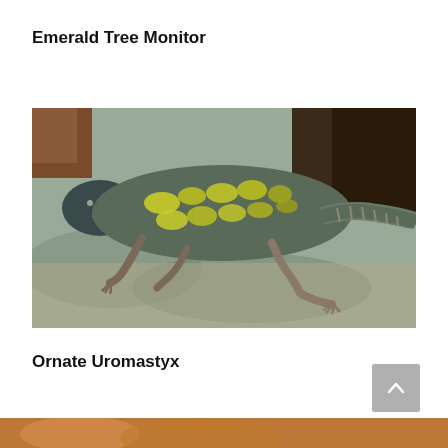Emerald Tree Monitor
[Figure (photo): Close-up photograph of an Emerald Tree Monitor lizard with distinctive black and yellow patterned scales, resting on a rocky surface with wood in the background.]
Ornate Uromastyx
[Figure (photo): Partial view of an Ornate Uromastyx lizard at the bottom of the page.]